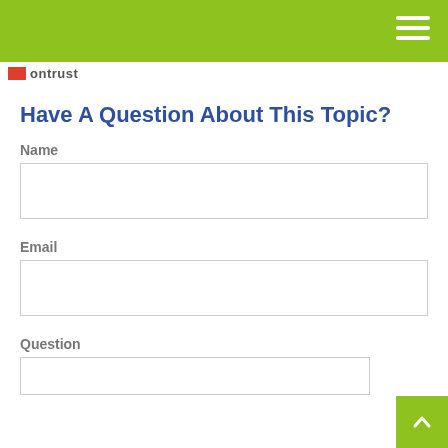Have A Question About This Topic?
Name
Email
Question